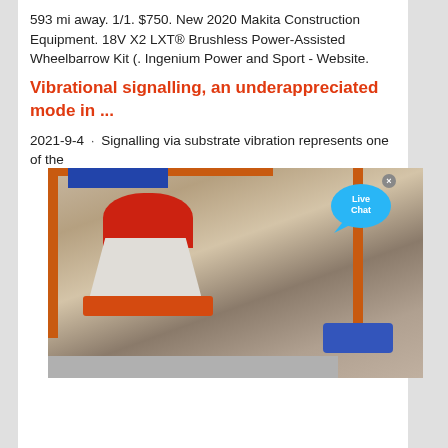593 mi away. 1/1. $750. New 2020 Makita Construction Equipment. 18V X2 LXT® Brushless Power-Assisted Wheelbarrow Kit (. Ingenium Power and Sport - Website.
[Figure (photo): Industrial cone crusher machine on a construction or mining site, mounted on an orange steel frame. A blue top section, red bowl, white crusher body, orange skirt, and blue motor are visible. A 'Live Chat' bubble overlay appears at the top right of the image.]
Vibrational signalling, an underappreciated mode in ...
2021-9-4 · Signalling via substrate vibration represents one of the